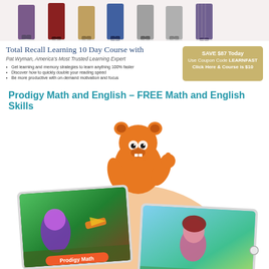[Figure (illustration): Group of people (legs visible) standing in a row, promotional banner top]
Total Recall Learning 10 Day Course with
Pat Wyman, America's Most Trusted Learning Expert
Get learning and memory strategies to learn anything 100% faster
Discover how to quickly double your reading speed
Be more productive with on-demand motivation and focus
SAVE $87 Today
Use Coupon Code LEARNFAST
Click Here & Course is $10
Prodigy Math and English – FREE Math and English Skills
[Figure (illustration): Prodigy game promotional image showing an orange bear mascot giving thumbs up above two tablets displaying Prodigy Math and Prodigy English games, with an orange semicircle background]